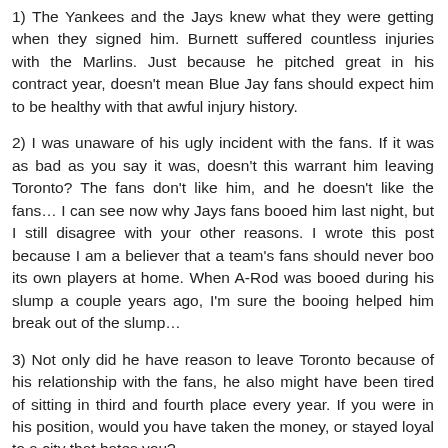1) The Yankees and the Jays knew what they were getting when they signed him. Burnett suffered countless injuries with the Marlins. Just because he pitched great in his contract year, doesn't mean Blue Jay fans should expect him to be healthy with that awful injury history.
2) I was unaware of his ugly incident with the fans. If it was as bad as you say it was, doesn't this warrant him leaving Toronto? The fans don't like him, and he doesn't like the fans... I can see now why Jays fans booed him last night, but I still disagree with your other reasons. I wrote this post because I am a believer that a team's fans should never boo its own players at home. When A-Rod was booed during his slump a couple years ago, I'm sure the booing helped him break out of the slump...
3) Not only did he have reason to leave Toronto because of his relationship with the fans, he also might have been tired of sitting in third and fourth place every year. If you were in his position, would you have taken the money, or stayed loyal to a city that hates you?
4) You said "Toronto fans have always to come in Blue...